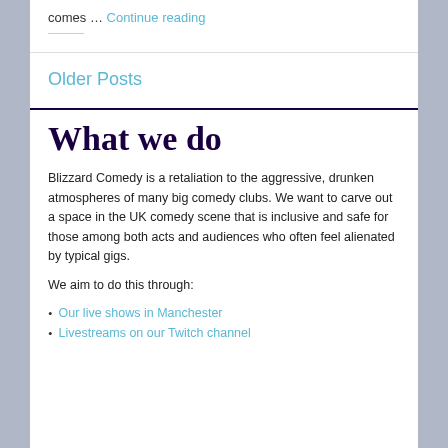comes … Continue reading
Older Posts
What we do
Blizzard Comedy is a retaliation to the aggressive, drunken atmospheres of many big comedy clubs. We want to carve out a space in the UK comedy scene that is inclusive and safe for those among both acts and audiences who often feel alienated by typical gigs.
We aim to do this through:
Our live shows in Manchester
Livestreams on our Twitch channel